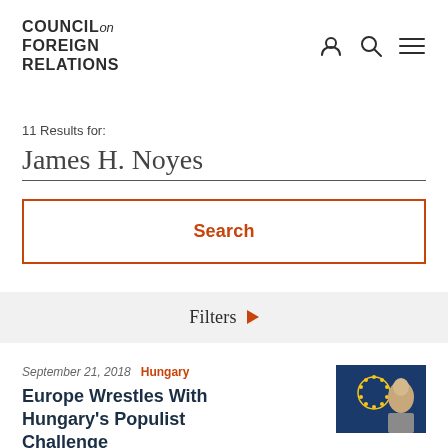COUNCIL on FOREIGN RELATIONS
11 Results for:
James H. Noyes
Search
Filters
September 21, 2018  Hungary
Europe Wrestles With Hungary's Populist Challenge